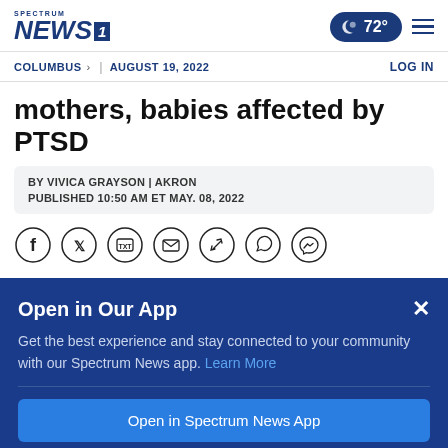Spectrum News 1 | 72° | Columbus | August 19, 2022 | LOG IN
mothers, babies affected by PTSD
BY VIVICA GRAYSON | AKRON
PUBLISHED 10:50 AM ET MAY. 08, 2022
[Figure (infographic): Row of social sharing icons: Facebook, Twitter, TXT, Email, Pinterest/Link, WhatsApp, Messenger]
Open in Our App
Get the best experience and stay connected to your community with our Spectrum News app. Learn More
Open in Spectrum News App
Continue in Browser